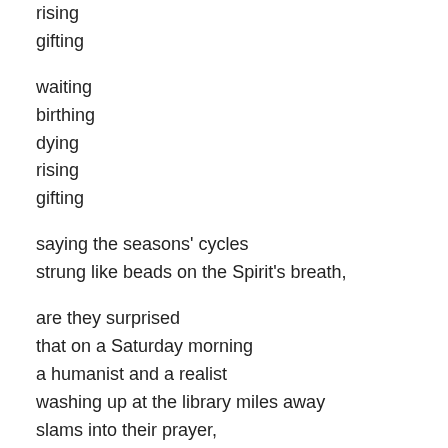rising
gifting

waiting
birthing
dying
rising
gifting

saying the seasons' cycles
strung like beads on the Spirit's breath,

are they surprised
that on a Saturday morning
a humanist and a realist
washing up at the library miles away
slams into their prayer,
Our Bag Lady full of grace,